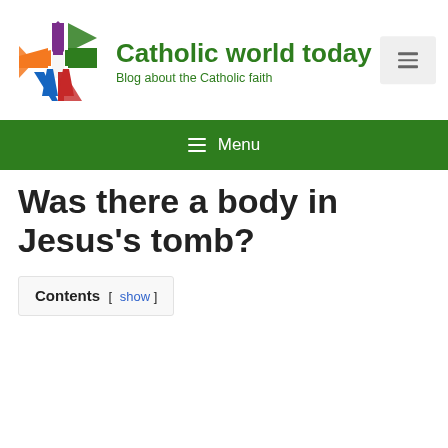[Figure (logo): Colorful cross logo with segments in orange, purple, green, blue, and red]
Catholic world today
Blog about the Catholic faith
≡ Menu
Was there a body in Jesus's tomb?
Contents [ show ]